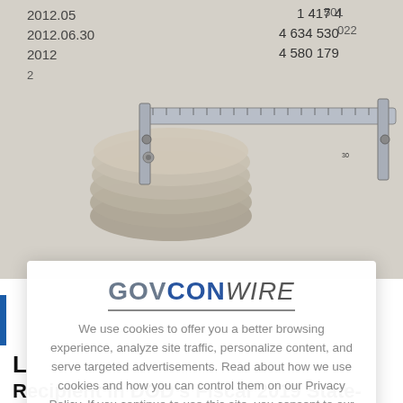[Figure (photo): Background photo showing coins and a caliper measurement tool resting on financial documents with numbers visible, including dates 2012.05, 2012.06.30 and figures 4 417, 4 634 530, 4 580 179, 391 501, 3 022]
[Figure (screenshot): GovConWire cookie consent modal overlay with logo, cookie policy text, and close button (X)]
GOVCONWIRE
We use cookies to offer you a better browsing experience, analyze site traffic, personalize content, and serve targeted advertisements. Read about how we use cookies and how you can control them on our Privacy Policy. If you continue to use this site, you consent to our use of cookies.
X
L
Recipient in DOD's Fiscal 2019 State-